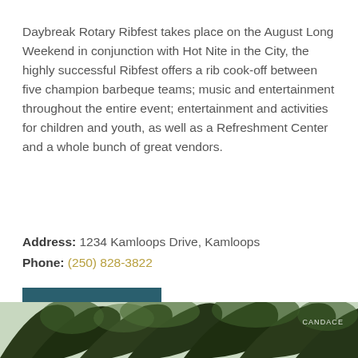Daybreak Rotary Ribfest takes place on the August Long Weekend in conjunction with Hot Nite in the City, the highly successful Ribfest offers a rib cook-off between five champion barbeque teams; music and entertainment throughout the entire event; entertainment and activities for children and youth, as well as a Refreshment Center and a whole bunch of great vendors.
Address: 1234 Kamloops Drive, Kamloops
Phone: (250) 828-3822
LEARN MORE »
[Figure (photo): Partial photo of trees with green foliage, cropped at bottom of page. A watermark 'CANDACE' is visible in the upper right of the photo strip.]